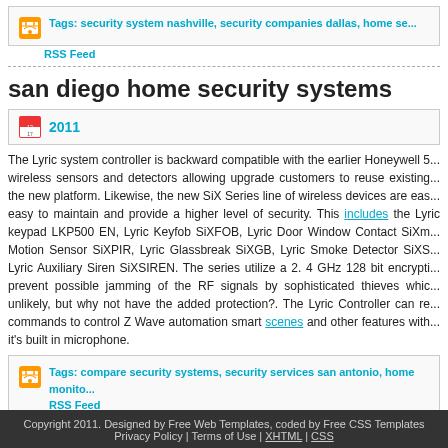Tags: security system nashville, security companies dallas, home se...
RSS Feed
san diego home security systems
2011
The Lyric system controller is backward compatible with the earlier Honeywell 5... wireless sensors and detectors allowing upgrade customers to reuse existing... the new platform. Likewise, the new SiX Series line of wireless devices are eas... easy to maintain and provide a higher level of security. This includes the Lyric keypad LKP500 EN, Lyric Keyfob SiXFOB, Lyric Door Window Contact SiXm... Motion Sensor SiXPIR, Lyric Glassbreak SiXGB, Lyric Smoke Detector SiXS... Lyric Auxiliary Siren SiXSIREN. The series utilize a 2. 4 GHz 128 bit encrypti... prevent possible jamming of the RF signals by sophisticated thieves whic... unlikely, but why not have the added protection?. The Lyric Controller can re... commands to control Z Wave automation smart scenes and other features with... it's built in microphone.
Tags: compare security systems, security services san antonio, home monito... RSS Feed
Copyright 2011. Designed by Free Web Templates, coded by Free CSS Templates Privacy Policy | Terms of Use | XHTML | CSS